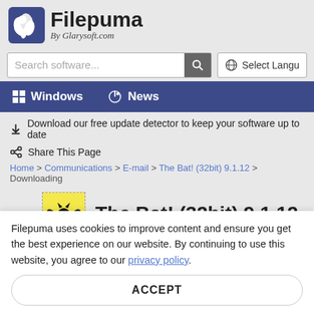[Figure (logo): Filepuma logo with leaf/puma icon and text 'Filepuma By Glarysoft.com']
Search software...
Select Langu
Windows  News
Download our free update detector to keep your software up to date
Share This Page
Home > Communications > E-mail > The Bat! (32bit) 9.1.12 > Downloading
The Bat! (32bit) 9.1.12
Filepuma uses cookies to improve content and ensure you get the best experience on our website. By continuing to use this website, you agree to our privacy policy.
ACCEPT